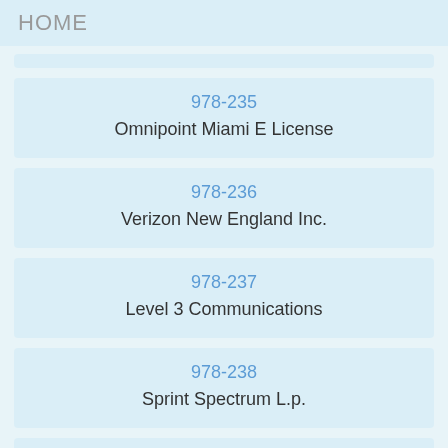HOME
978-235
Omnipoint Miami E License
978-236
Verizon New England Inc.
978-237
Level 3 Communications
978-238
Sprint Spectrum L.p.
978-239